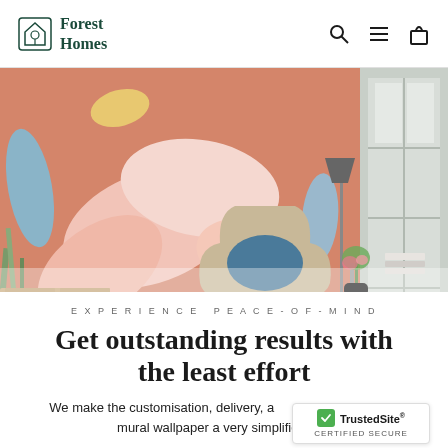Forest Homes
[Figure (photo): Interior room photo showing a decorative floral mural wallpaper in pink, peach, and blue tones on a wall, with a beige armchair, blue cushion, floor lamp, and window in the background.]
EXPERIENCE PEACE-OF-MIND
Get outstanding results with the least effort
We make the customisation, delivery, and installation of your mural wallpaper a very simplified process...